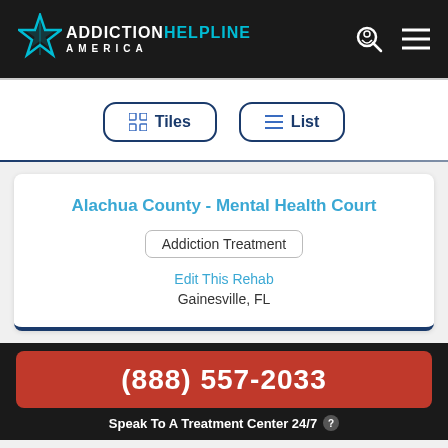[Figure (logo): Addiction Helpline America logo with star icon on dark background header]
[Figure (screenshot): Tiles and List view toggle buttons]
Alachua County - Mental Health Court
Addiction Treatment
Edit This Rehab
Gainesville, FL
(888) 557-2033
Speak To A Treatment Center 24/7